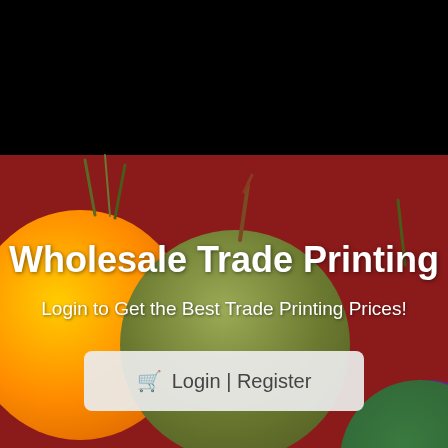[Figure (photo): Background photo of colorful tomatoes (orange, green) on a dark/red background serving as hero image for a wholesale trade printing website]
Wholesale Trade Printing
Login to Get the Best Trade Printing Prices!
🛒 Login | Register